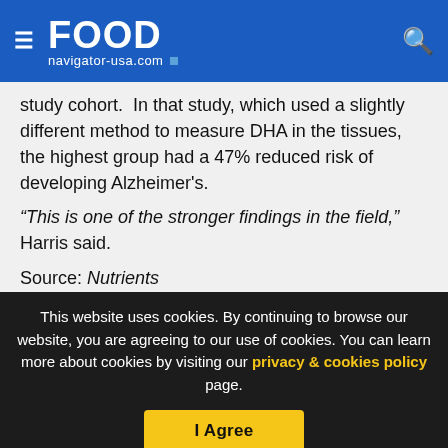FOOD navigator-usa.com
study cohort. In that study, which used a slightly different method to measure DHA in the tissues, the highest group had a 47% reduced risk of developing Alzheimer's.
“This is one of the stronger findings in the field,” Harris said.
Source: Nutrients
2022, 14, 2408. https://doi.org/10.3390/nu14122408
Red Blood Cell DHA Is Inversely Associated with Risk of Incident Alzheimer’s Disease and All-Cause Dementia: Framingham Heart
This website uses cookies. By continuing to browse our website, you are agreeing to our use of cookies. You can learn more about cookies by visiting our privacy & cookies policy page.